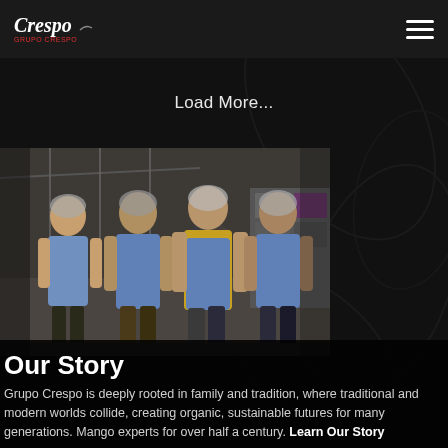Crespo | Grupo Crespo
Load More...
[Figure (photo): Four workers in blue aprons and hair nets standing together inside a large food processing facility. Industrial shelving and other workers are visible in the background.]
Our Story
Grupo Crespo is deeply rooted in family and tradition, where traditional and modern worlds collide, creating organic, sustainable futures for many generations. Mango experts for over half a century. Learn Our Story